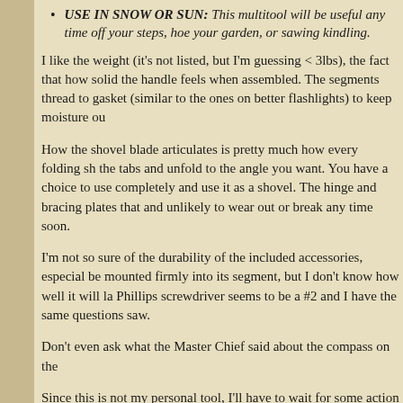USE IN SNOW OR SUN: This multitool will be useful any time off your steps, hoe your garden, or sawing kindling.
I like the weight (it's not listed, but I'm guessing < 3lbs), the fact that how solid the handle feels when assembled. The segments thread to gasket (similar to the ones on better flashlights) to keep moisture ou
How the shovel blade articulates is pretty much how every folding sh the tabs and unfold to the angle you want. You have a choice to use completely and use it as a shovel. The hinge and bracing plates that and unlikely to wear out or break any time soon.
I'm not so sure of the durability of the included accessories, especial be mounted firmly into its segment, but I don't know how well it will la Phillips screwdriver seems to be a #2 and I have the same questions saw.
Don't even ask what the Master Chief said about the compass on the
Since this is not my personal tool, I'll have to wait for some action pic spring bulbs get planted. All of our camping trips were canceled by b California fires or were close enough to be covered in smoke and as